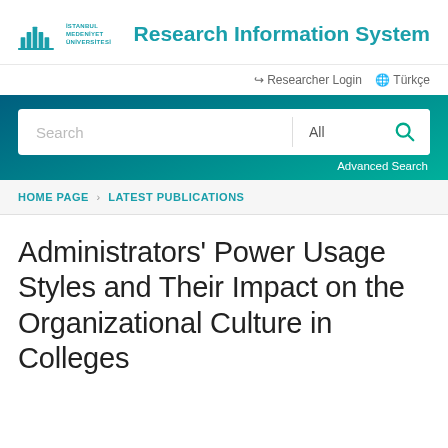İSTANBUL MEDENİYET ÜNİVERSİTESİ — Research Information System
Researcher Login  Türkçe
[Figure (screenshot): Search bar with text field showing 'Search', a dropdown showing 'All', and a teal search icon button. Below is an 'Advanced Search' link.]
HOME PAGE > LATEST PUBLICATIONS
Administrators' Power Usage Styles and Their Impact on the Organizational Culture in Colleges